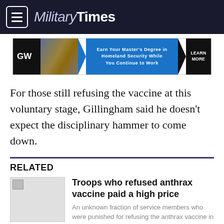Military Times
[Figure (illustration): GW advertisement banner: Earn Your Master's Degree in Homeland Security While You Continue to Work. Learn More.]
For those still refusing the vaccine at this voluntary stage, Gillingham said he doesn't expect the disciplinary hammer to come down.
RELATED
Troops who refused anthrax vaccine paid a high price
An unknown fraction of service members who were punished for refusing the anthrax vaccine in the late…
By Todd South